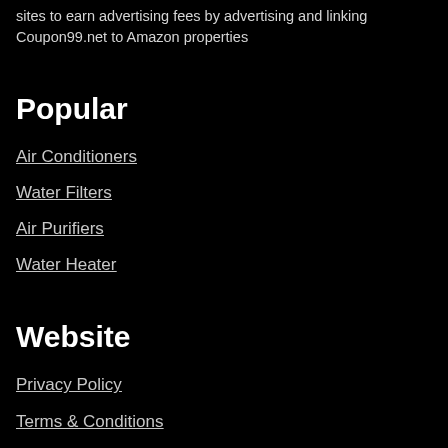sites to earn advertising fees by advertising and linking Coupon99.net to Amazon properties
Popular
Air Conditioners
Water Filters
Air Purifiers
Water Heater
Website
Privacy Policy
Terms & Conditions
Affiliate Disclosure
Contact